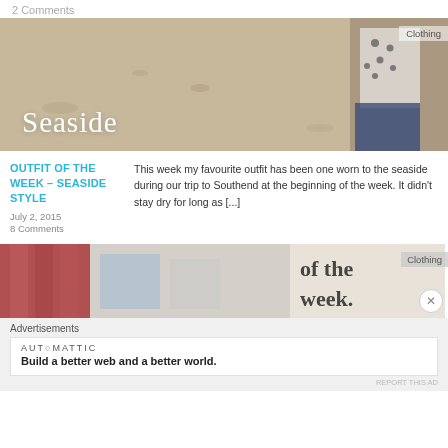2 Comments
[Figure (photo): Beach/seaside photo with 'Seaside' title text overlay and 'Clothing' tag in top right corner]
OUTFIT OF THE WEEK – SEASIDE STYLE
July 2, 2015
8 Comments
This week my favourite outfit has been one worn to the seaside during our trip to Southend at the beginning of the week. It didn't stay dry for long as [...]
[Figure (photo): Second blog post image partially visible showing 'of the week.' text and a clothing/street scene, with 'Clothing' tag]
Advertisements
AUTOMATTIC — Build a better web and a better world.
REPORT THIS AD